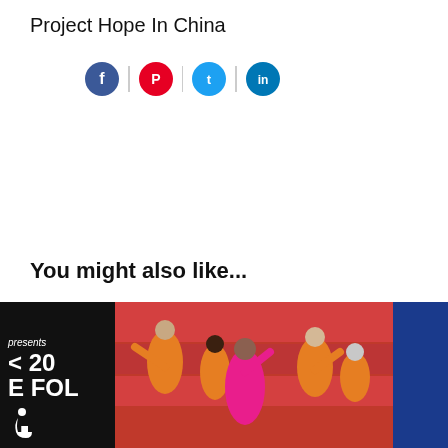Project Hope In China
[Figure (infographic): Social media share icons: Facebook (blue circle), Pinterest (red circle), Twitter (blue circle), LinkedIn (blue circle) separated by vertical lines]
You might also like...
[Figure (photo): A strip of images: left shows a black poster with text 'presents', '< 20', 'E FOL' and a wheelchair accessibility icon; center shows performers in orange and pink costumes in stadium red seats; right shows a solid blue rectangle]